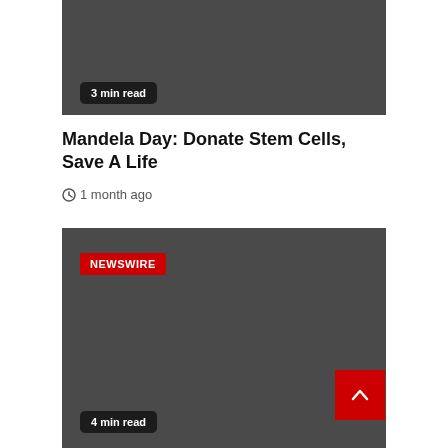[Figure (photo): Dark grey image placeholder at top of article card]
3 min read
Mandela Day: Donate Stem Cells, Save A Life
1 month ago
[Figure (photo): Dark grey image placeholder for Newswire article with NEWSWIRE badge]
4 min read